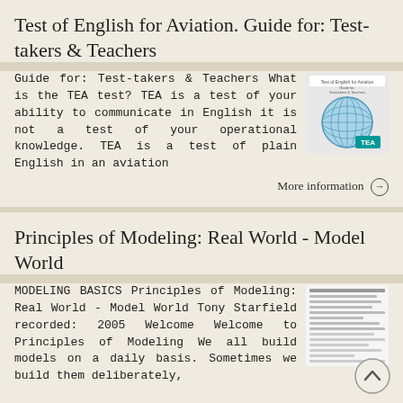Test of English for Aviation. Guide for: Test-takers & Teachers
Guide for: Test-takers & Teachers What is the TEA test? TEA is a test of your ability to communicate in English it is not a test of your operational knowledge. TEA is a test of plain English in an aviation
[Figure (illustration): Book cover thumbnail for Test of English for Aviation showing a globe graphic and TEA logo]
More information →
Principles of Modeling: Real World - Model World
MODELING BASICS Principles of Modeling: Real World - Model World Tony Starfield recorded: 2005 Welcome Welcome to Principles of Modeling We all build models on a daily basis. Sometimes we build them deliberately,
[Figure (illustration): Document thumbnail for Principles of Modeling showing text lines]
[Figure (illustration): Back to top circular arrow button]